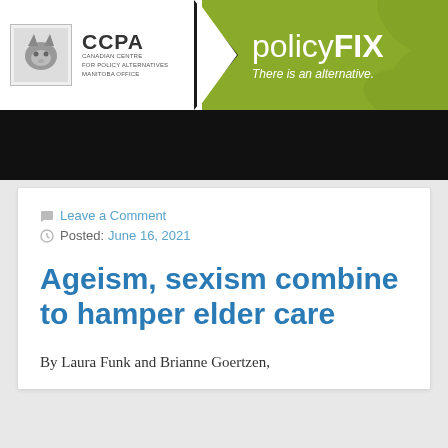CCPA — CANADIAN CENTRE FOR POLICY ALTERNATIVES MANITOBA OFFICE | policyFIX — There is an alternative.
[Figure (logo): CCPA Canadian Centre for Policy Alternatives Manitoba Office logo with fox/cat animal graphic, and policyFIX branding on olive-green background]
Leave a Comment
Posted: June 16, 2021
Ageism, sexism combine to hamper elder care
By Laura Funk and Brianne Goertzen,